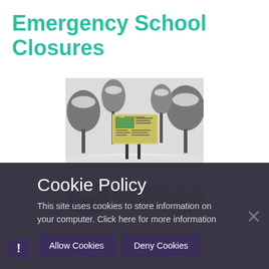Emergency School Closures
[Figure (photo): Snow scene with an information signboard in a snowy park or common, trees covered in snow in the background]
[Figure (photo): Partial view of another snow scene photo, cropped by the cookie overlay]
Cookie Policy
This site uses cookies to store information on your computer. Click here for more information
Allow Cookies
Deny Cookies